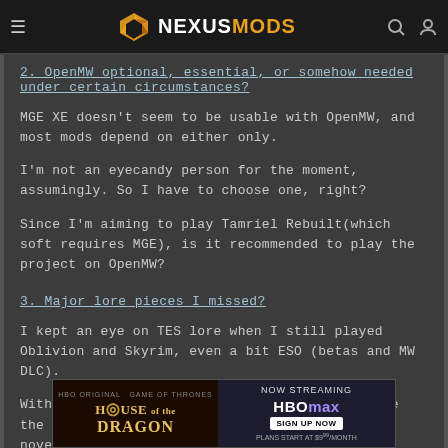NEXUSMODS
2. OpenMW optional, essential, or somehow needed under certain circumstances?
MGE XE doesn't seem to be usable with OpenMW, and most mods depend on either only.
I'm not an eyecandy person for the moment, assumingly. So I have to choose one, right?
Since I'm aiming to play Tamriel Rebuilt(which soft requires MGE), is it recommended to play the project on OpenMW?
3. Major lore pieces I missed?
I kept an eye on TES lore when I still played Oblivion and Skyrim, even a bit ESO (betas and MW DLC).
Without a doubt The Red Year was the one hit me the most. Never had a chance to read the 2 novels thoroughly as well... and
[Figure (screenshot): House of the Dragon HBO advertisement banner with HBO Max now streaming sign up now at $9.99/month]